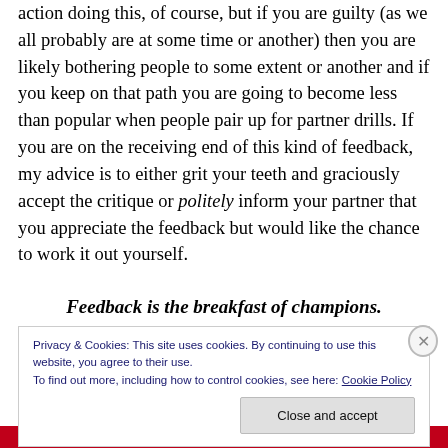action doing this, of course, but if you are guilty (as we all probably are at some time or another) then you are likely bothering people to some extent or another and if you keep on that path you are going to become less than popular when people pair up for partner drills. If you are on the receiving end of this kind of feedback, my advice is to either grit your teeth and graciously accept the critique or politely inform your partner that you appreciate the feedback but would like the chance to work it out yourself.
Feedback is the breakfast of champions.
Privacy & Cookies: This site uses cookies. By continuing to use this website, you agree to their use.
To find out more, including how to control cookies, see here: Cookie Policy